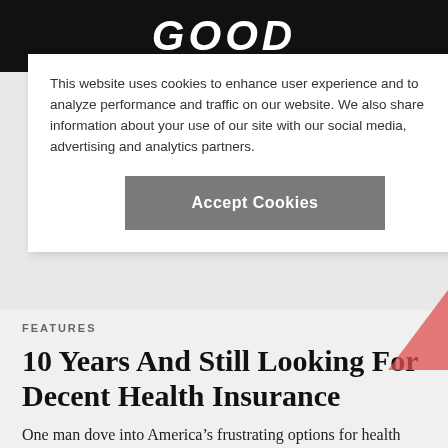GOOD
This website uses cookies to enhance user experience and to analyze performance and traffic on our website. We also share information about your use of our site with our social media, advertising and analytics partners.
Accept Cookies
FEATURES
10 Years And Still Looking For Decent Health Insurance
One man dove into America’s frustrating options for health coverage, and (barely) survived to tell the tale
By Neal Pollack   11.22.16